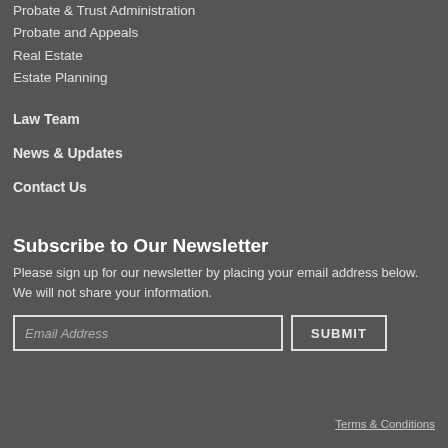Probate & Trust Administration
Probate and Appeals
Real Estate
Estate Planning
Law Team
News & Updates
Contact Us
Subscribe to Our Newsletter
Please sign up for our newsletter by placing your email address below. We will not share your information.
Terms & Conditions